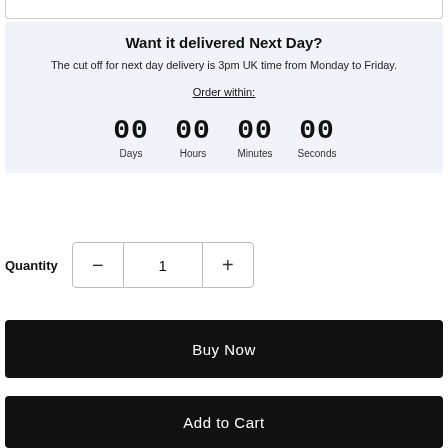Want it delivered Next Day? The cut off for next day delivery is 3pm UK time from Monday to Friday. Order within: 00 Days 00 Hours 00 Minutes 00 Seconds
Quantity 1
Buy Now
Add to Cart